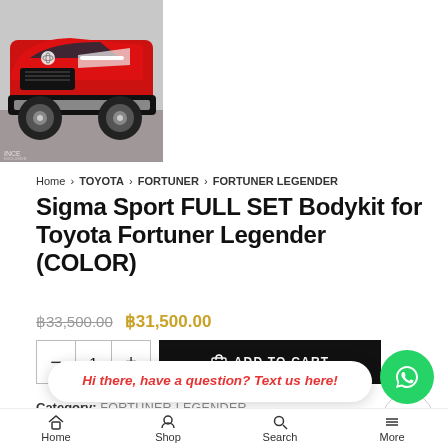[Figure (photo): Red Toyota Fortuner Legender with sport bodykit, front view]
Home > TOYOTA > FORTUNER > FORTUNER LEGENDER
Sigma Sport FULL SET Bodykit for Toyota Fortuner Legender (COLOR)
฿33,500.00  ฿31,500.00
ADD TO CART
Category:  FORTUNER LEGENDER
Tags: Legender, tithum, tithum body kit
Hi there, have a question? Text us here!
Home   Shop   Search   More